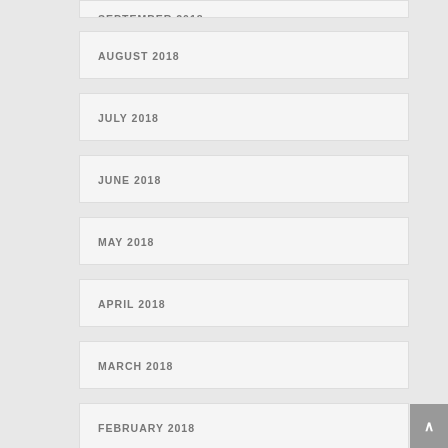SEPTEMBER 2018
AUGUST 2018
JULY 2018
JUNE 2018
MAY 2018
APRIL 2018
MARCH 2018
FEBRUARY 2018
JANUARY 2018